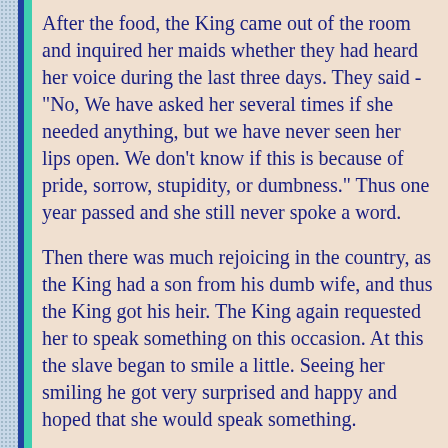After the food, the King came out of the room and inquired her maids whether they had heard her voice during the last three days. They said - "No, We have asked her several times if she needed anything, but we have never seen her lips open. We don't know if this is because of pride, sorrow, stupidity, or dumbness." Thus one year passed and she still never spoke a word.
Then there was much rejoicing in the country, as the King had a son from his dumb wife, and thus the King got his heir. The King again requested her to speak something on this occasion. At this the slave began to smile a little. Seeing her smiling he got very surprised and happy and hoped that she would speak something.
Then to the King's utmost surprise, the slave spoke - "Sir, I want to say so many things to you, but I do not know where to begin. Let me first thank you for all the favors you conferred upon me. I had thought